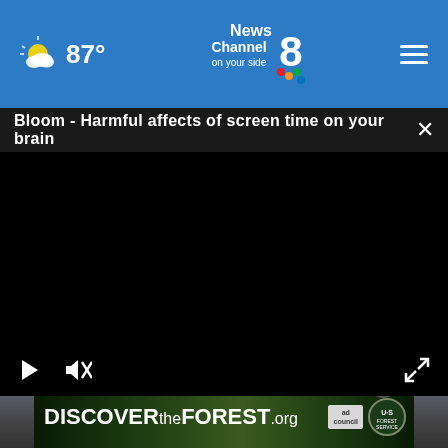87° News Channel 8 on your side
Bloom - Harmful affects of screen time on your brain
[Figure (screenshot): Black video player with play button and mute icon and fullscreen icon controls at bottom]
[Figure (photo): Person with glasses and blonde hair, partially visible at bottom of screen]
[Figure (other): DISCOVERtheFOREST.org advertisement banner with Ad Council and US Forest Service logos]